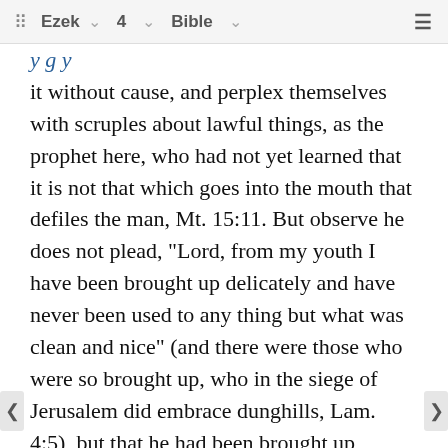⠿ Ezek  ∨  4  ∨  Bible  ∨  ≡
it without cause, and perplex themselves with scruples about lawful things, as the prophet here, who had not yet learned that it is not that which goes into the mouth that defiles the man, Mt. 15:11. But observe he does not plead, "Lord, from my youth I have been brought up delicately and have never been used to any thing but what was clean and nice" (and there were those who were so brought up, who in the siege of Jerusalem did embrace dunghills, Lam. 4:5), but that he had been brought up conscientiously, and had never eaten any thing that was forbidden by the law, that died of itself or was torn in pieces; and therefore, "Lord, do not put this upon me now." Thus Peter pleaded (Acts 10:14), Lord, I have never eaten any thing that is common or unclean. Note, it will be comfortable to us, when we are reduced to hardships, ‛ our hearts can witness for us that we have always